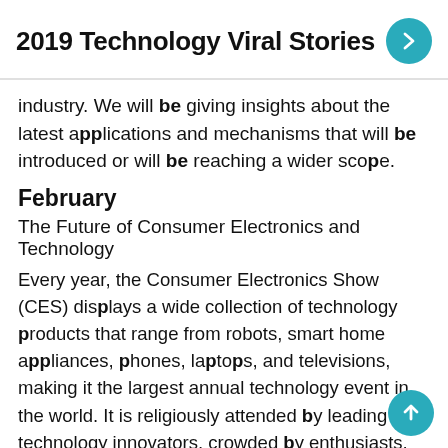2019 Technology Viral Stories
industry. We will be giving insights about the latest applications and mechanisms that will be introduced or will be reaching a wider scope.
February
The Future of Consumer Electronics and Technology
Every year, the Consumer Electronics Show (CES) displays a wide collection of technology products that range from robots, smart home appliances, phones, laptops, and televisions, making it the largest annual technology event in the world. It is religiously attended by leading technology innovators, crowded by enthusiasts, and populated by the media.
March